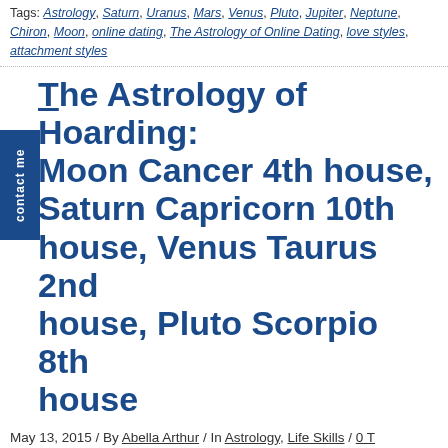Tags: Astrology, Saturn, Uranus, Mars, Venus, Pluto, Jupiter, Neptune, Chiron, Moon, online dating, The Astrology of Online Dating, love styles, attachment styles
The Astrology of Hoarding: Moon Cancer 4th house, Saturn Capricorn 10th house, Venus Taurus 2nd house, Pluto Scorpio 8th house
May 13, 2015 / By Abella Arthur / In Astrology, Life Skills / 0 T
[Figure (photo): Cluttered room filled with various objects, artwork, baskets, and miscellaneous items stacked and piled together]
Hoarding is under the domains of:

Moon Cancer 4th house: